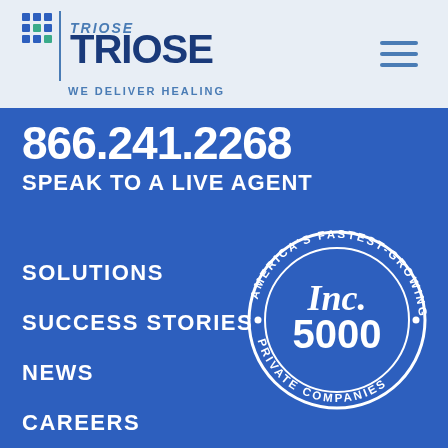[Figure (logo): TRIOSE logo with grid icon and tagline WE DELIVER HEALING]
[Figure (illustration): Hamburger menu icon (three horizontal lines)]
866.241.2268
SPEAK TO A LIVE AGENT
SOLUTIONS
SUCCESS STORIES
NEWS
CAREERS
[Figure (logo): Inc. 5000 America's Fastest-Growing Private Companies badge/seal]